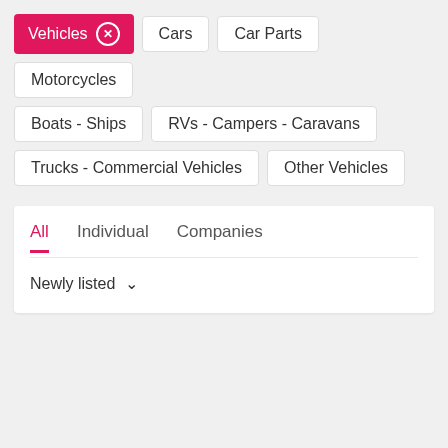Vehicles ×
Cars
Car Parts
Motorcycles
Boats - Ships
RVs - Campers - Caravans
Trucks - Commercial Vehicles
Other Vehicles
All   Individual   Companies
Newly listed ∨